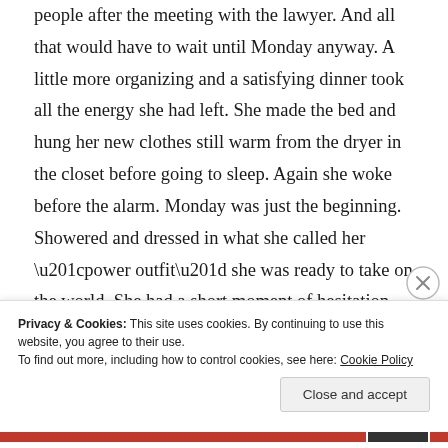people after the meeting with the lawyer. And all that would have to wait until Monday anyway. A little more organizing and a satisfying dinner took all the energy she had left. She made the bed and hung her new clothes still warm from the dryer in the closet before going to sleep. Again she woke before the alarm. Monday was just the beginning. Showered and dressed in what she called her “power outfit” she was ready to take on the world. She had a short moment of hesitation when she spotted her reflection in the car window. A deep breath and she conquered her trepidation.
Privacy & Cookies: This site uses cookies. By continuing to use this website, you agree to their use.
To find out more, including how to control cookies, see here: Cookie Policy
Close and accept